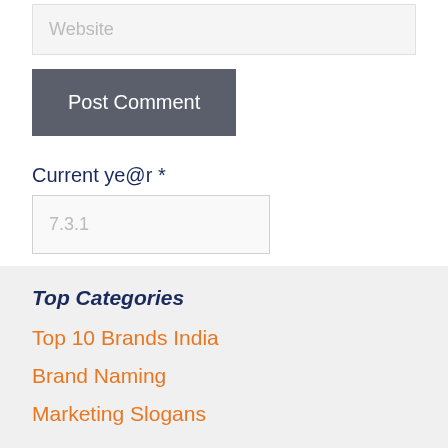Website
Post Comment
Current ye@r *
7.3.1
Top Categories
Top 10 Brands India
Brand Naming
Marketing Slogans